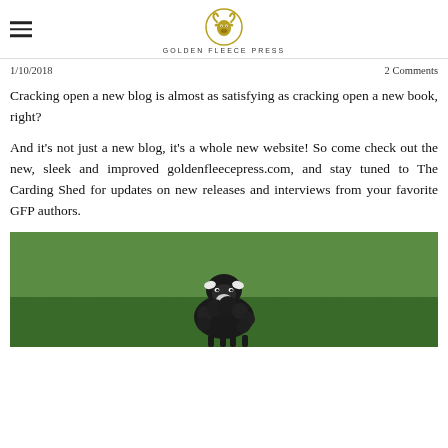GOLDEN FLEECE PRESS
1/10/2018    2 Comments
Cracking open a new blog is almost as satisfying as cracking open a new book, right?
And it's not just a new blog, it's a whole new website! So come check out the new, sleek and improved goldenfleecepress.com, and stay tuned to The Carding Shed for updates on new releases and interviews from your favorite GFP authors.
[Figure (photo): A black and white lamb sitting in a green grassy field, looking directly at the camera.]